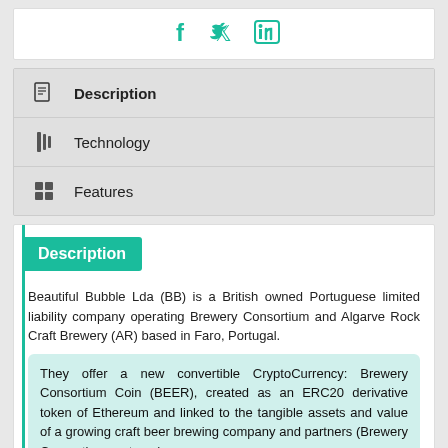[Figure (illustration): Social media icons: Facebook, Twitter, LinkedIn in teal color]
Description
Technology
Features
Description
Beautiful Bubble Lda (BB) is a British owned Portuguese limited liability company operating Brewery Consortium and Algarve Rock Craft Brewery (AR) based in Faro, Portugal.
They offer a new convertible CryptoCurrency: Brewery Consortium Coin (BEER), created as an ERC20 derivative token of Ethereum and linked to the tangible assets and value of a growing craft beer brewing company and partners (Brewery Consortium partners).
this website uses cookies to ensure you get the best experience on website
Got It